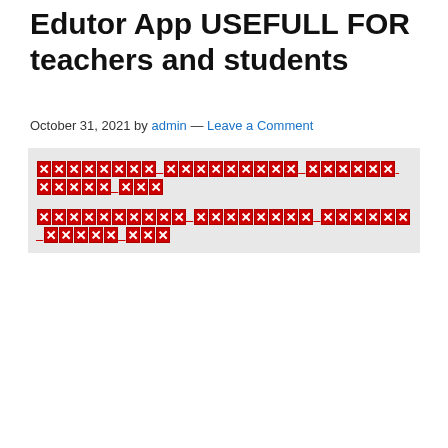Edutor App USEFULL FOR teachers and students
October 31, 2021 by admin — Leave a Comment
[corrupted link bar 1 - unreadable characters]
[corrupted link bar 2 - unreadable characters]